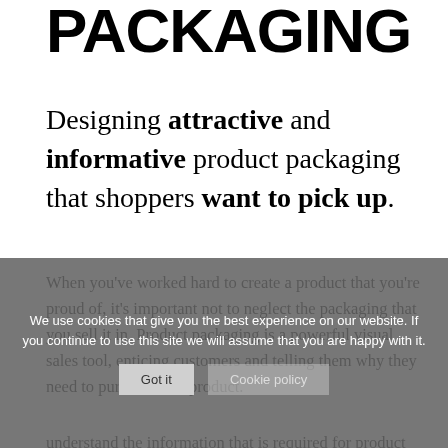PACKAGING
Designing attractive and informative product packaging that shoppers want to pick up.
When you've worked hard to create a product that you're proud of, it's important not to neglect the packaging that you sell it in. Product packaging is a powerful visual sales tool, enticing customers and telling them why they need to purchase this product.
We understand the information that is required for product packaging, enabling customers to see exactly what they're buying while also respecting the necessary regulations and guidelines. My years of design experience mean that I know how to prioritise
We use cookies that give you the best experience on our website. If you continue to use this site we will assume that you are happy with it.